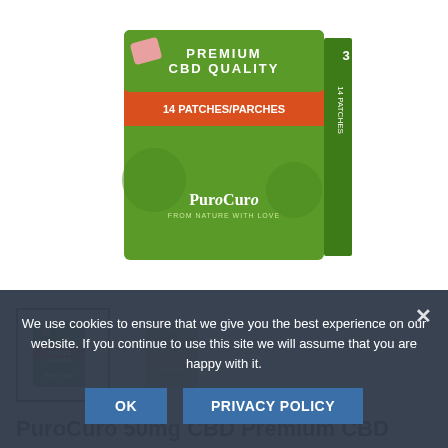[Figure (photo): Main product image of PuroCuro 50mg CBD Premium CBD patches box — green and red box with '14 PATCHES/PARCHES' text and PuroCuro logo, shown on white background]
[Figure (photo): Thumbnail 1 (selected): PuroCuro CBD patches box, green/red packaging, small product image with border]
[Figure (photo): Thumbnail 2: PuroCuro CBD patches box alternative variant, lighter green packaging]
PuroCuro 50mg CBD Premium CBD
We use cookies to ensure that we give you the best experience on our website. If you continue to use this site we will assume that you are happy with it.
OK
PRIVACY POLICY